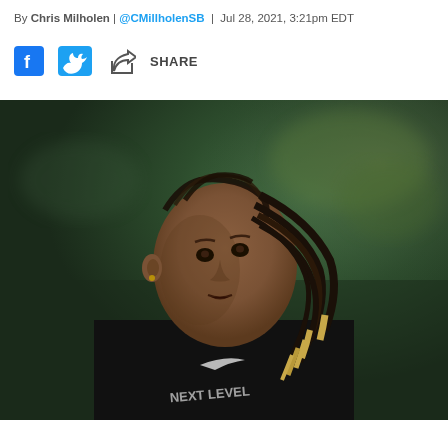By Chris Milholen | @CMillholenSB | Jul 28, 2021, 3:21pm EDT
[Figure (other): Social share bar with Facebook, Twitter, and share icons]
[Figure (photo): Young Black male athlete with braided dreadlocks, wearing a black Nike long-sleeve shirt, looking over his shoulder. Blurred green arena background.]